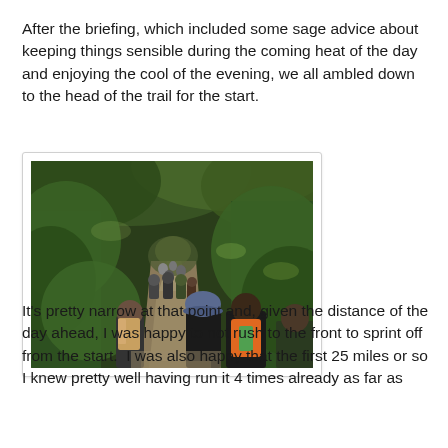After the briefing, which included some sage advice about keeping things sensible during the coming heat of the day and enjoying the cool of the evening, we all ambled down to the head of the trail for the start.
[Figure (photo): A group of trail runners and hikers with backpacks crowding a narrow forest trail surrounded by green vegetation and trees, viewed from behind.]
It's pretty narrow at that point and, given the distance of the day ahead, I was happy to not rush to the front to sprint off from the start.  I was also happy that the first 25 miles or so I knew pretty well having run it 4 times already as far as Marathon race while I had little idea of exactly the route the aid...